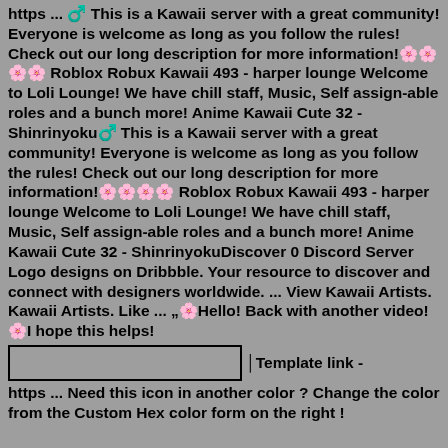https ... ♂️ This is a Kawaii server with a great community! Everyone is welcome as long as you follow the rules! Check out our long description for more information!🌸🌸🌸🌸 Roblox Robux Kawaii 493 - harper lounge Welcome to Loli Lounge! We have chill staff, Music, Self assign-able roles and a bunch more! Anime Kawaii Cute 32 - Shinrinyoku♂️ This is a Kawaii server with a great community! Everyone is welcome as long as you follow the rules! Check out our long description for more information!🌸🌸🌸🌸 Roblox Robux Kawaii 493 - harper lounge Welcome to Loli Lounge! We have chill staff, Music, Self assign-able roles and a bunch more! Anime Kawaii Cute 32 - ShinrinyokuDiscover 0 Discord Server Logo designs on Dribbble. Your resource to discover and connect with designers worldwide. ... View Kawaii Artists. Kawaii Artists. Like ... „🌸Hello! Back with another video! 🌸I hope this helps!
Template link - https ... Need this icon in another color ? Change the color from the Custom Hex color form on the right !